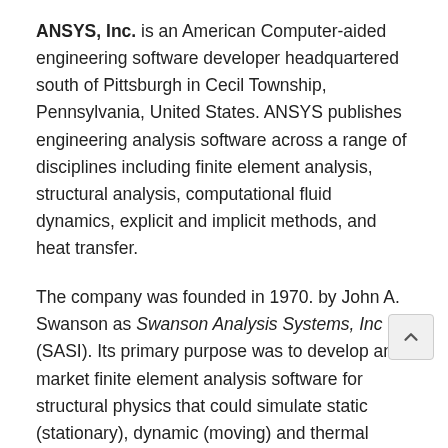ANSYS, Inc. is an American Computer-aided engineering software developer headquartered south of Pittsburgh in Cecil Township, Pennsylvania, United States. ANSYS publishes engineering analysis software across a range of disciplines including finite element analysis, structural analysis, computational fluid dynamics, explicit and implicit methods, and heat transfer.
The company was founded in 1970. by John A. Swanson as Swanson Analysis Systems, Inc (SASI). Its primary purpose was to develop and market finite element analysis software for structural physics that could simulate static (stationary), dynamic (moving) and thermal (heat transfer) problems. SASI developed its business in parallel with the growth in computer technology and engineering needs. The company grew